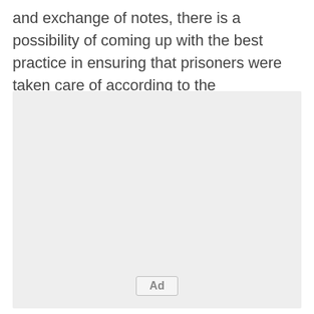and exchange of notes, there is a possibility of coming up with the best practice in ensuring that prisoners were taken care of according to the international standards.
[Figure (other): Advertisement placeholder box with light gray background and 'Ad' label button at the bottom center.]